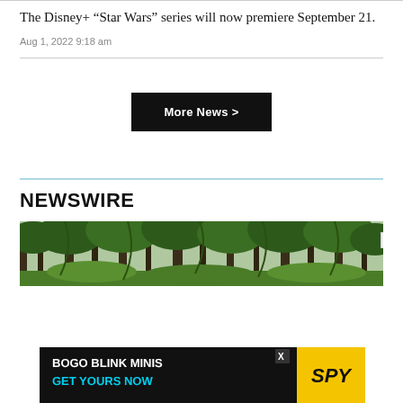The Disney+ “Star Wars” series will now premiere September 21.
Aug 1, 2022 9:18 am
[Figure (other): More News button — black rectangle with white bold text reading 'More News >']
NEWSWIRE
[Figure (photo): Forest scene with tall green trees and dense foliage]
[Figure (other): Advertisement banner: 'BOGO BLINK MINIS GET YOURS NOW' with SPY logo on yellow background]